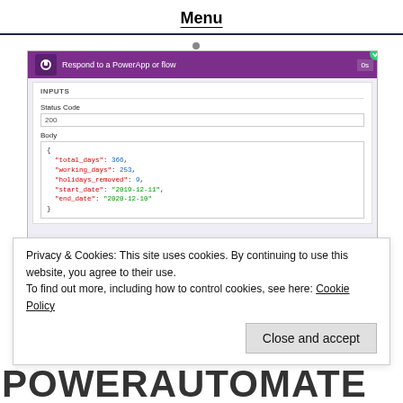Menu
[Figure (screenshot): Screenshot of a Power Automate flow step 'Respond to a PowerApp or flow' showing INPUTS section with Status Code 200 and Body containing JSON with total_days: 366, working_days: 253, holidays_removed: 9, start_date: '2019-12-11', end_date: '2020-12-10']
Privacy & Cookies: This site uses cookies. By continuing to use this website, you agree to their use.
To find out more, including how to control cookies, see here: Cookie Policy
Close and accept
POWERAUTOMATE